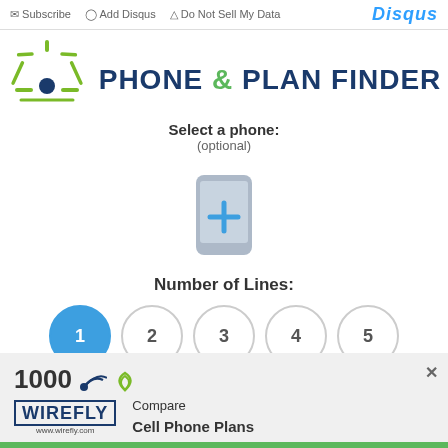Subscribe  Add Disqus  Do Not Sell My Data  DISQUS
[Figure (logo): Phone & Plan Finder logo with green starburst/rays graphic and navy blue dot]
PHONE & PLAN FINDER
Select a phone:
(optional)
[Figure (illustration): Gray smartphone icon with a plus sign]
Number of Lines:
1 (selected, blue circle)
2
3
4
5
6
7
8
9
10
[Figure (logo): Wirefly advertisement banner: 1000 with signal icon, Wirefly logo, Compare Cell Phone Plans text, phone illustration]